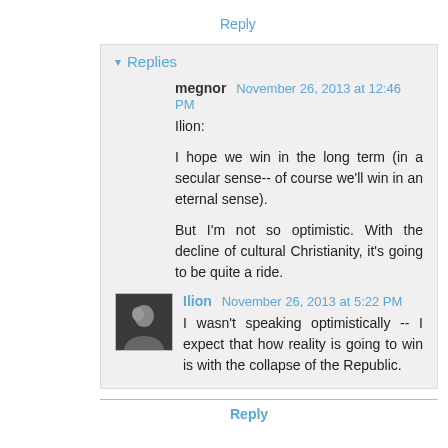Reply
▾ Replies
megnor  November 26, 2013 at 12:46 PM

Ilion:

I hope we win in the long term (in a secular sense-- of course we'll win in an eternal sense).

But I'm not so optimistic. With the decline of cultural Christianity, it's going to be quite a ride.
Ilion  November 26, 2013 at 5:22 PM

I wasn't speaking optimistically -- I expect that how reality is going to win is with the collapse of the Republic.
Reply